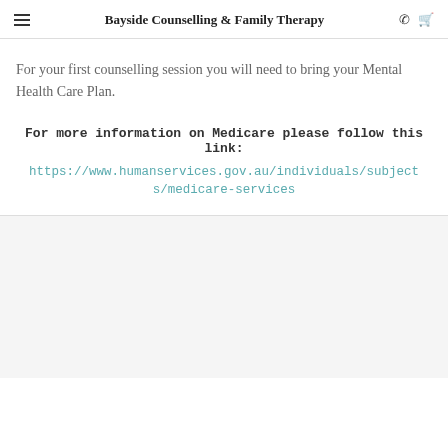Bayside Counselling & Family Therapy
For your first counselling session you will need to bring your Mental Health Care Plan.
For more information on Medicare please follow this link: https://www.humanservices.gov.au/individuals/subjects/medicare-services